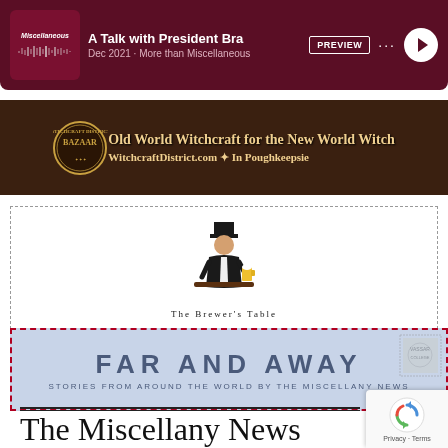[Figure (screenshot): Podcast preview banner for 'A Talk with President Bra' on More than Miscellaneous, Dec 2021, with dark maroon background, waveform, PREVIEW button, and play button]
[Figure (illustration): Witchcraft District Bazaar advertisement: 'Old World Witchcraft for the New World Witch - WitchcraftDistrict.com - In Poughkeepsie' on dark brown background with gold ornate text]
[Figure (logo): The Brewer's Table logo: illustrated figure in top hat and coat holding a beer mug, standing at a bar, inside a dashed border box]
[Figure (illustration): Far and Away advertisement: light blue-grey background with red dashed border, large text 'FAR AND AWAY', subtitle 'STORIES FROM AROUND THE WORLD BY THE MISCELLANY NEWS', with stamp decoration in corner]
The Miscellany News